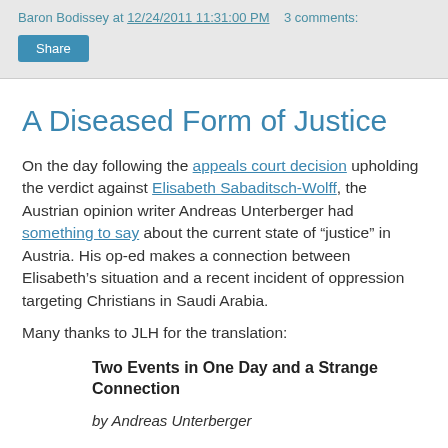Baron Bodissey at 12/24/2011 11:31:00 PM   3 comments:
Share
A Diseased Form of Justice
On the day following the appeals court decision upholding the verdict against Elisabeth Sabaditsch-Wolff, the Austrian opinion writer Andreas Unterberger had something to say about the current state of “justice” in Austria. His op-ed makes a connection between Elisabeth’s situation and a recent incident of oppression targeting Christians in Saudi Arabia.
Many thanks to JLH for the translation:
Two Events in One Day and a Strange Connection
by Andreas Unterberger